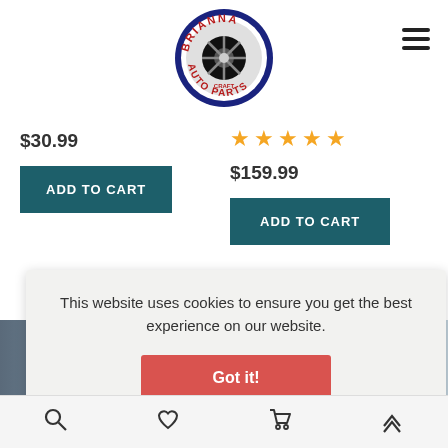[Figure (logo): Brianna Auto Parts circular logo with tire/wheel in center, red text on outer ring, dark blue border]
$30.99
ADD TO CART
★★★★★
$159.99
ADD TO CART
This website uses cookies to ensure you get the best experience on our website.
Got it!